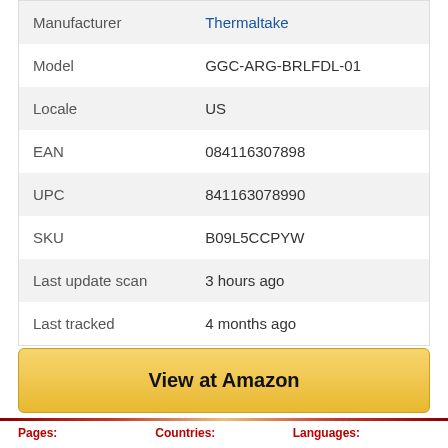| Field | Value |
| --- | --- |
| Manufacturer | Thermaltake |
| Model | GGC-ARG-BRLFDL-01 |
| Locale | US |
| EAN | 084116307898 |
| UPC | 841163078990 |
| SKU | B09L5CCPYW |
| Last update scan | 3 hours ago |
| Last tracked | 4 months ago |
View at Amazon
Pages:    Countries:    Languages: